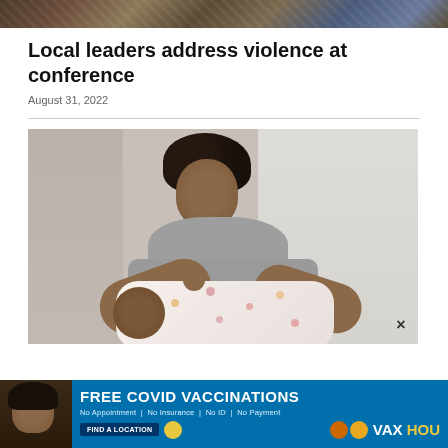[Figure (photo): Cropped top banner image showing fabric or crowd scene with colorful patterns]
Local leaders address violence at conference
August 31, 2022
[Figure (photo): A Black mother smiling and looking down at her newborn baby wrapped in a floral blanket, indoors with soft light background]
[Figure (photo): Advertisement banner: FREE COVID VACCINATIONS - No Appointment | No Insurance | No ID | No Payment - FIND A LOCATION - VAX HOU]